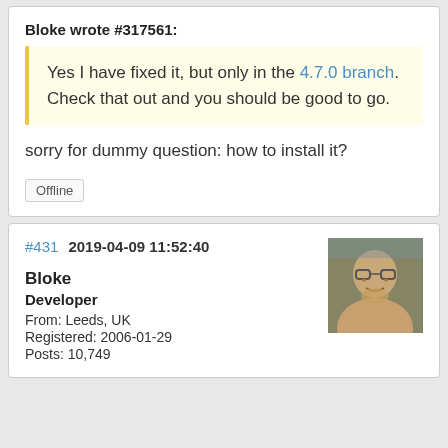Bloke wrote #317561:
Yes I have fixed it, but only in the 4.7.0 branch. Check that out and you should be good to go.
sorry for dummy question: how to install it?
Offline
#431  2019-04-09 11:52:40
Bloke
Developer
From: Leeds, UK
Registered: 2006-01-29
Posts: 10,749
[Figure (photo): Avatar photo of user Bloke, showing a man with glasses outdoors]